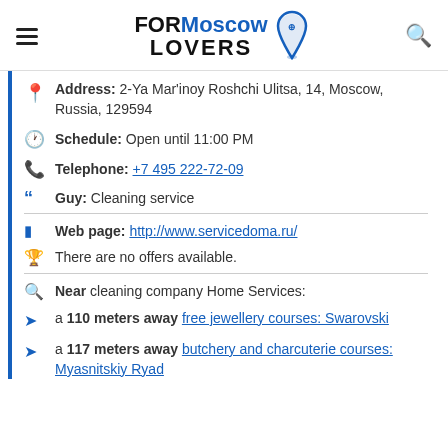FORMoscow LOVERS
Address: 2-Ya Mar'inoy Roshchi Ulitsa, 14, Moscow, Russia, 129594
Schedule: Open until 11:00 PM
Telephone: +7 495 222-72-09
Guy: Cleaning service
Web page: http://www.servicedoma.ru/
There are no offers available.
Near cleaning company Home Services:
a 110 meters away free jewellery courses: Swarovski
a 117 meters away butchery and charcuterie courses: Myasnitskiy Ryad